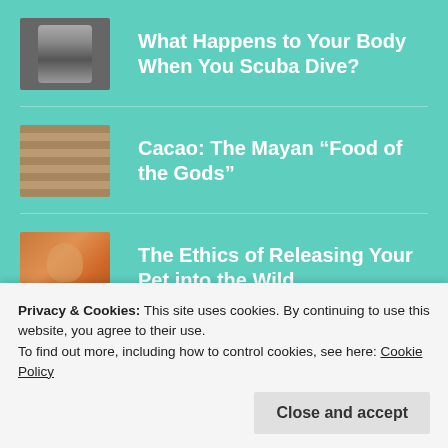What Happens to Your Body When You Scuba Dive?
Cacao: The Mayan “Food of the Gods”
The Ethics of Releasing Your Pet into the Wild
Privacy & Cookies: This site uses cookies. By continuing to use this website, you agree to their use.
To find out more, including how to control cookies, see here: Cookie Policy
Close and accept